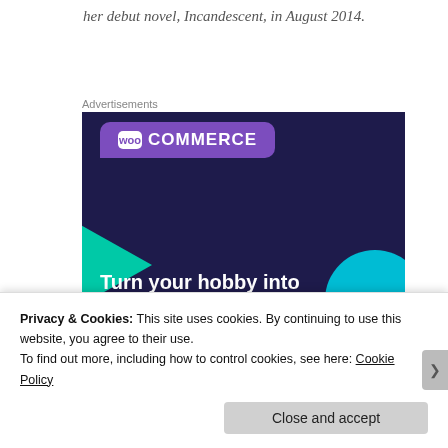her debut novel, Incandescent, in August 2014.
Advertisements
[Figure (illustration): WooCommerce advertisement banner with dark navy background, purple speech-bubble logo area with 'woo COMMERCE' text, green arrow shape on left, cyan circle on right, and bold white text reading 'Turn your hobby into a business in 8 steps' with a white button below.]
Privacy & Cookies: This site uses cookies. By continuing to use this website, you agree to their use.
To find out more, including how to control cookies, see here: Cookie Policy
Close and accept